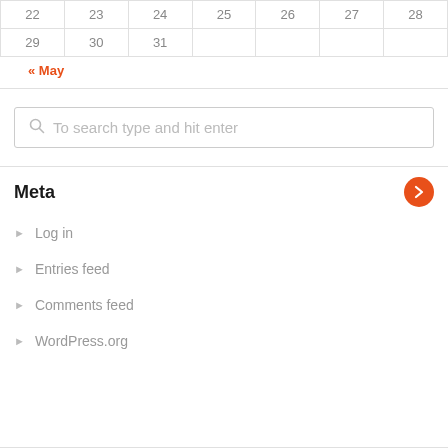| 22 | 23 | 24 | 25 | 26 | 27 | 28 |
| 29 | 30 | 31 |  |  |  |  |
« May
To search type and hit enter
Meta
Log in
Entries feed
Comments feed
WordPress.org